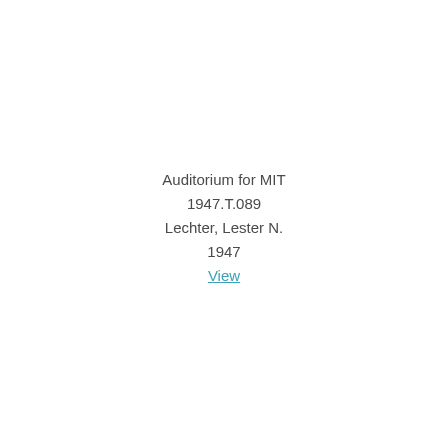Auditorium for MIT
1947.T.089
Lechter, Lester N.
1947
View